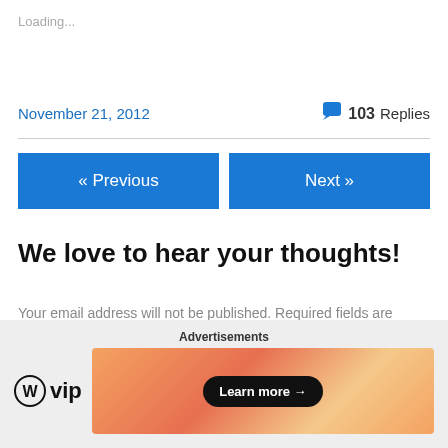Loading...
November 21, 2012
💬 103 Replies
« Previous
Next »
We love to hear your thoughts!
Your email address will not be published. Required fields are marked *
Advertisements
[Figure (logo): WordPress VIP logo with circular W icon and 'vip' text]
[Figure (infographic): Orange/peach gradient advertisement banner with 'Learn more →' button]